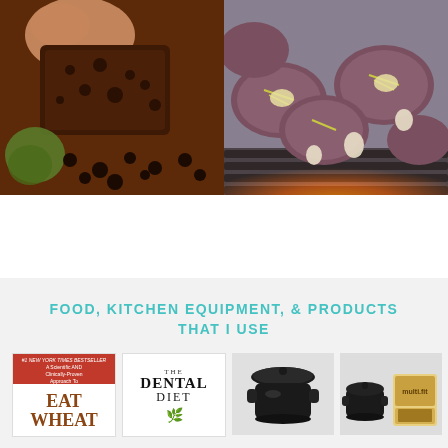[Figure (photo): Person holding a chocolate brownie with avocado and chocolate chips in background]
[Figure (photo): Grilling steaks with herbs on a grill with fire visible underneath]
FOOD, KITCHEN EQUIPMENT, & PRODUCTS THAT I USE
[Figure (photo): Book cover: Eat Wheat]
[Figure (photo): Book cover: The Dental Diet]
[Figure (photo): Black cast iron Dutch oven pot with lid]
[Figure (photo): Small cast iron pots and food product packaging]